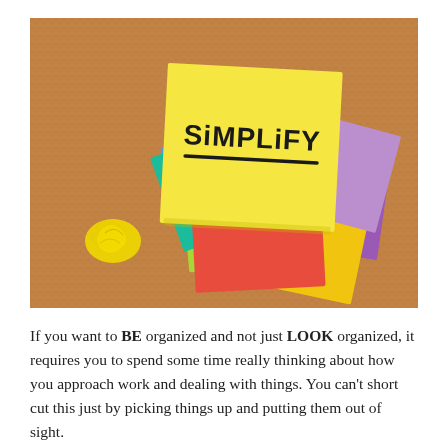[Figure (photo): A cork board with a large stack of colorful sticky notes. The top note is yellow and has 'SiMPLiFY' written in black marker with an underline. A crumpled yellow sticky note sits nearby on the cork board.]
If you want to BE organized and not just LOOK organized, it requires you to spend some time really thinking about how you approach work and dealing with things. You can't short cut this just by picking things up and putting them out of sight.